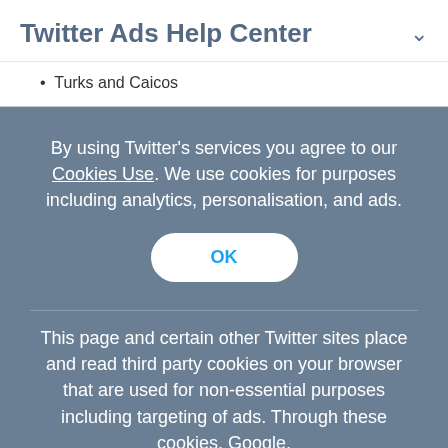Twitter Ads Help Center
Turks and Caicos
By using Twitter's services you agree to our Cookies Use. We use cookies for purposes including analytics, personalisation, and ads.
OK
This page and certain other Twitter sites place and read third party cookies on your browser that are used for non-essential purposes including targeting of ads. Through these cookies, Google,